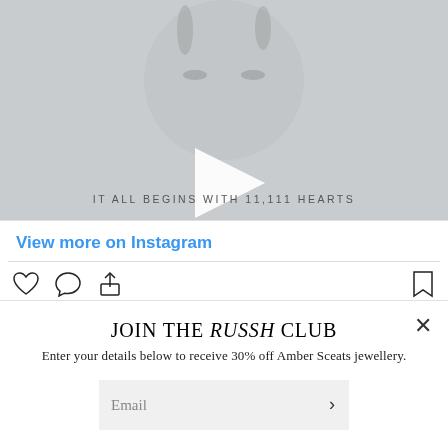[Figure (screenshot): Instagram video thumbnail showing a close-up face in black and white with a play button overlay and text 'IT ALL BEGINS WITH 11,111 HEARTS']
View more on Instagram
[Figure (infographic): Instagram action icons: heart (like), comment bubble, share, and bookmark]
422.701 likes
JOIN THE RUSSH CLUB
Enter your details below to receive 30% off Amber Sceats jewellery.
Email